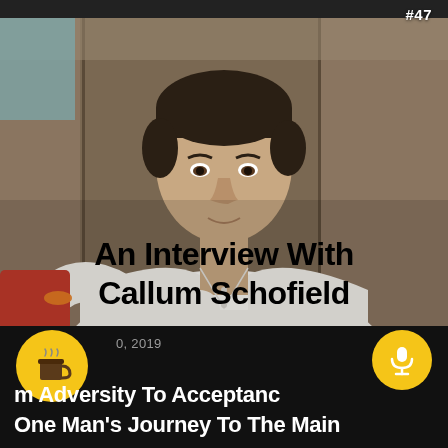[Figure (photo): Young man in white button-up shirt seated in a cafe or lounge with wooden paneling in background. Text overlay reads 'An Interview With Callum Schofield'. Episode number #47 visible in top right.]
An Interview With Callum Schofield
#47
0, 2019
m Adversity To Acceptance
One Man's Journey To The Main